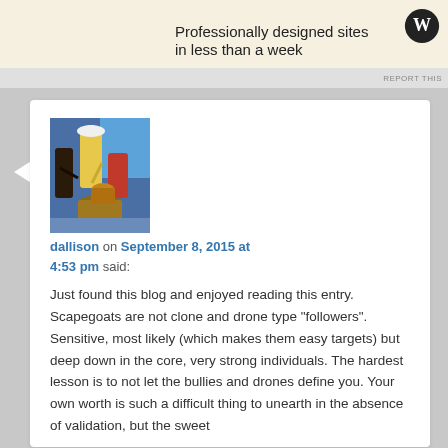[Figure (illustration): WordPress ad banner: 'Professionally designed sites in less than a week' with WordPress logo]
REPORT THIS
[Figure (photo): Avatar image of painted figures — people sitting at a table, colorful painting style]
dallison on September 8, 2015 at 4:53 pm said:
Just found this blog and enjoyed reading this entry. Scapegoats are not clone and drone type "followers". Sensitive, most likely (which makes them easy targets) but deep down in the core, very strong individuals. The hardest lesson is to not let the bullies and drones define you. Your own worth is such a difficult thing to unearth in the absence of validation, but the sweet